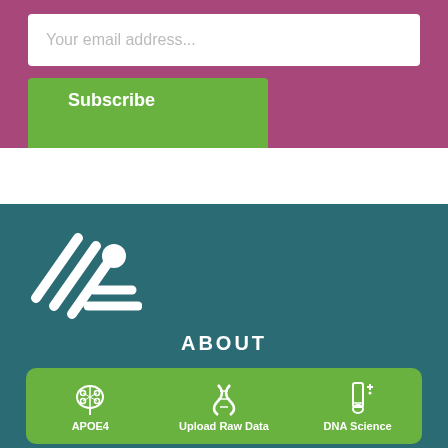Your email address...
Subscribe
[Figure (logo): Website logo with diagonal lines and a person icon on teal background]
ABOUT
[Figure (infographic): Green navigation bar with three icons and labels: APOE4 (brain circuit icon), Upload Raw Data (DNA icon), DNA Science (test tube icon)]